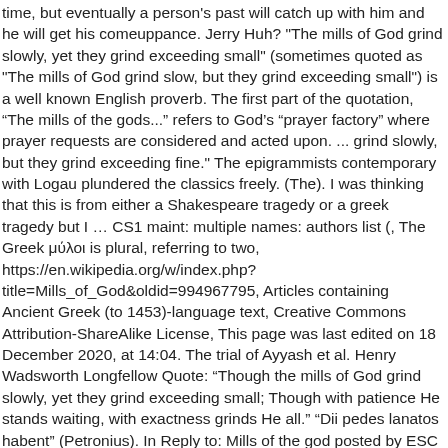time, but eventually a person's past will catch up with him and he will get his comeuppance. Jerry Huh? "The mills of God grind slowly, yet they grind exceeding small" (sometimes quoted as "The mills of God grind slow, but they grind exceeding small") is a well known English proverb. The first part of the quotation, “The mills of the gods...” refers to God’s “prayer factory” where prayer requests are considered and acted upon. ... grind slowly, but they grind exceeding fine." The epigrammists contemporary with Logau plundered the classics freely. (The). I was thinking that this is from either a Shakespeare tragedy or a greek tragedy but I … CS1 maint: multiple names: authors list (, The Greek μύλοι is plural, referring to two, https://en.wikipedia.org/w/index.php?title=Mills_of_God&oldid=994967795, Articles containing Ancient Greek (to 1453)-language text, Creative Commons Attribution-ShareAlike License, This page was last edited on 18 December 2020, at 14:04. The trial of Ayyash et al. Henry Wadsworth Longfellow Quote: “Though the mills of God grind slowly, yet they grind exceeding small; Though with patience He stands waiting, with exactness grinds He all.” “Dii pedes lanatos habent” (Petronius). In Reply to: Mills of the god posted by ESC on May 29, 2004: : "The wheels of the gods grind slowly yet exceedingly fine". 1 of 3 Go to page. A rendition of the story "they grind exceedingly small" by Ben Williams made by the 2nd group of english class of IV-1 Einstein in Pedro E. Diaz High School Its origins are less well known. Analysis of THEY GRIND EXCEEDINGLY SMALL by Ben...